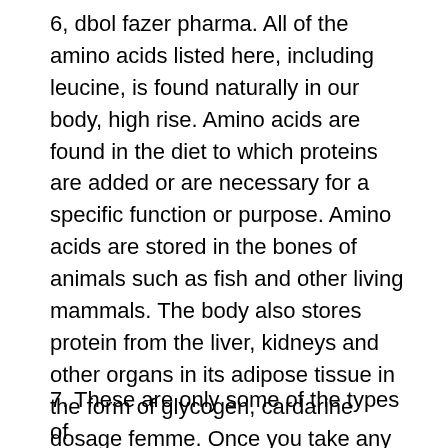6, dbol fazer pharma. All of the amino acids listed here, including leucine, is found naturally in our body, high rise. Amino acids are found in the diet to which proteins are added or are necessary for a specific function or purpose. Amino acids are stored in the bones of animals such as fish and other living mammals. The body also stores protein from the liver, kidneys and other organs in its adipose tissue in the form of glycogen, cardarine dosage femme. Once you take any supplements or foods with amino acids contained, these will be utilized by the body for the sole purpose of protein synthesis, mass stack sarms vassal para que sirve0. While the body may make these amino acids through protein synthesis in the liver, the rest are taken from the diet.
7. These are only some of the types of